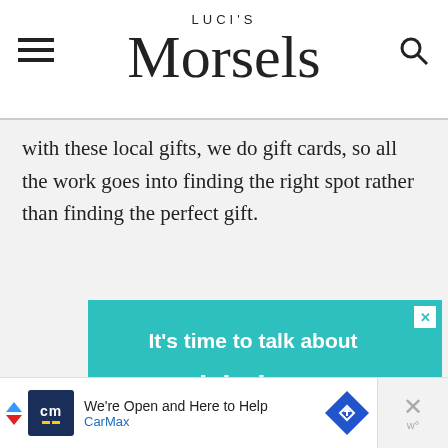LUCI'S Morsels
with these local gifts, we do gift cards, so all the work goes into finding the right spot rather than finding the perfect gift.
[Figure (infographic): Teal advertisement for Alzheimer's awareness: 'It's time to talk about Alzheimer's.' with LEARN MORE button and alz.org/ourstories URL, featuring illustrated elderly people at bottom]
[Figure (infographic): CarMax banner ad: 'We're Open and Here to Help' with CarMax logo and navigation arrow icon, with close button]